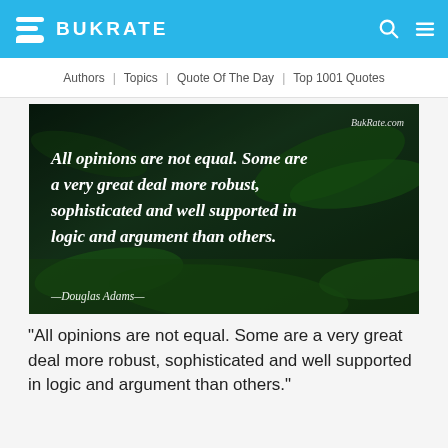BUKRATE
Authors | Topics | Quote Of The Day | Top 1001 Quotes
[Figure (illustration): Quote image on a nature background (green ferns/moss) with white bold italic text: 'All opinions are not equal. Some are a very great deal more robust, sophisticated and well supported in logic and argument than others.' Attribution: —Douglas Adams— Watermark: BukRate.com]
“All opinions are not equal. Some are a very great deal more robust, sophisticated and well supported in logic and argument than others.”